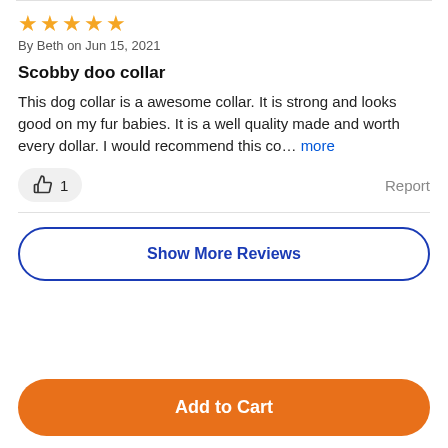★★★★★
By Beth on Jun 15, 2021
Scobby doo collar
This dog collar is a awesome collar. It is strong and looks good on my fur babies. It is a well quality made and worth every dollar. I would recommend this co... more
👍 1   Report
Show More Reviews
Add to Cart